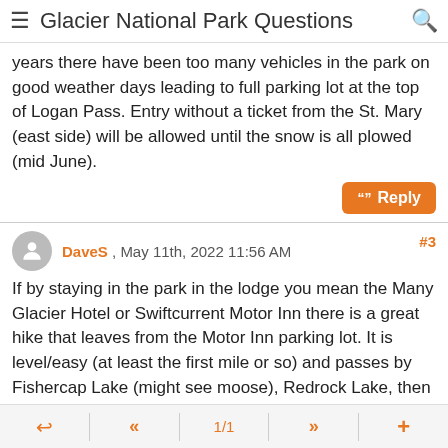Glacier National Park Questions
years there have been too many vehicles in the park on good weather days leading to full parking lot at the top of Logan Pass. Entry without a ticket from the St. Mary (east side) will be allowed until the snow is all plowed (mid June).
DaveS , May 11th, 2022 11:56 AM #3
If by staying in the park in the lodge you mean the Many Glacier Hotel or Swiftcurrent Motor Inn there is a great hike that leaves from the Motor Inn parking lot. It is level/easy (at least the first mile or so) and passes by Fishercap Lake (might see moose), Redrock Lake, then Redrock Falls. Nice views most of the way. Fishercap lake in the morning below.
[Figure (photo): Photo of Fishercap Lake in the morning with mountain and trees in background]
← << 1/1 >> +